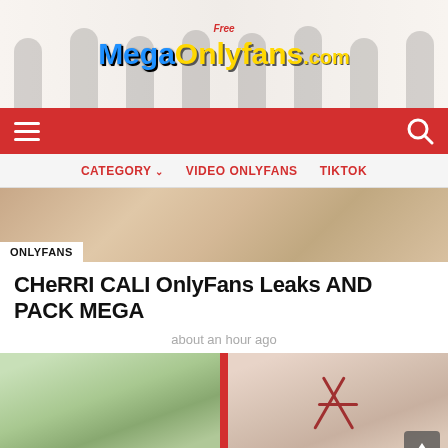[Figure (logo): FreeMegaOnlyfans.com website banner logo with multiple women in background]
Navigation bar with hamburger menu and search icon
CATEGORY  VIDEO ONLYFANS  TIKTOK
[Figure (photo): Blurred thumbnail image with ONLYFANS badge overlay]
CHeRRI CALI OnlyFans Leaks AND PACK MEGA
about an hour ago
[Figure (photo): Two side-by-side blurred content images with red border divider]